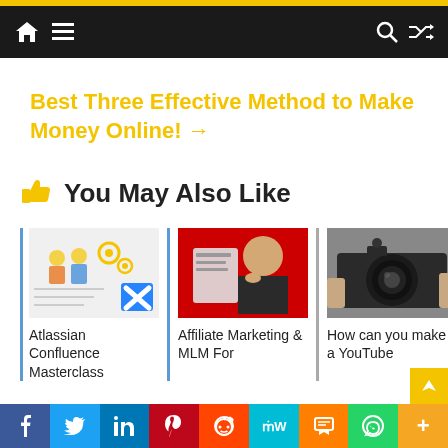Navigation bar with home, menu, search, and shuffle icons
Best Three Effective Method to Make Money Online! →
👍 You May Also Like
[Figure (screenshot): Thumbnail image for Atlassian Confluence Masterclass with people working and blue X logo]
Atlassian Confluence Masterclass
[Figure (photo): Thumbnail image for Affiliate Marketing & MLM For with man on red background holding a t-shirt]
Affiliate Marketing & MLM For
[Figure (photo): Thumbnail image for How can you make a YouTube with person holding a camera]
How can you make a YouTube
Social share bar: Facebook, Twitter, LinkedIn, Pinterest, Reddit, MW, Mix, WhatsApp, More